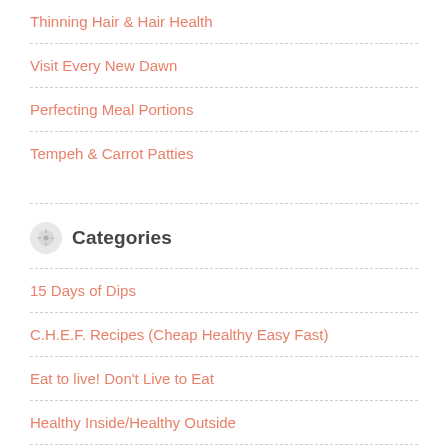Thinning Hair & Hair Health
Visit Every New Dawn
Perfecting Meal Portions
Tempeh & Carrot Patties
Categories
15 Days of Dips
C.H.E.F. Recipes (Cheap Healthy Easy Fast)
Eat to live! Don't Live to Eat
Healthy Inside/Healthy Outside
Life